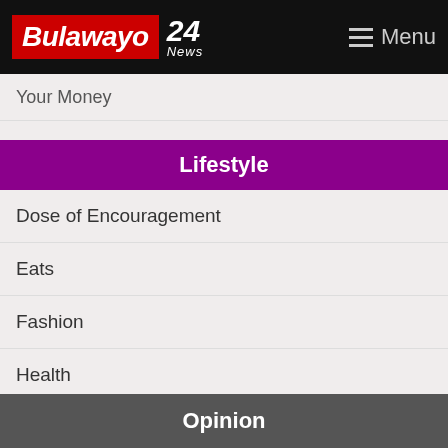Bulawayo 24 News | Menu
Your Money
Lifestyle
Dose of Encouragement
Eats
Fashion
Health
Travel and Tourism
Relationships
Comics
Photos
Opinion